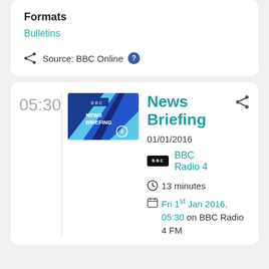Formats
Bulletins
Source: BBC Online ?
05:30
[Figure (photo): News Briefing BBC Radio 4 programme thumbnail with blue geometric design and BBC NEWS BRIEFING text]
News Briefing
01/01/2016
[Figure (logo): BBC logo on black background]
BBC Radio 4
13 minutes
Fri 1st Jan 2016, 05:30 on BBC Radio 4 FM